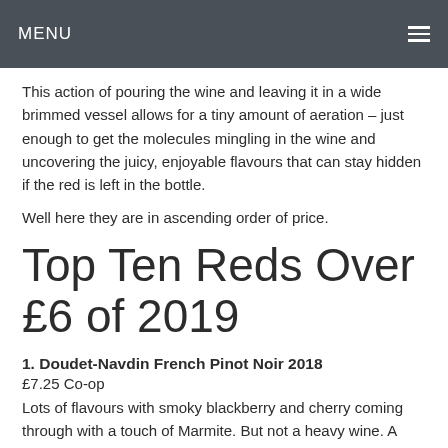MENU
This action of pouring the wine and leaving it in a wide brimmed vessel allows for a tiny amount of aeration – just enough to get the molecules mingling in the wine and uncovering the juicy, enjoyable flavours that can stay hidden if the red is left in the bottle.
Well here they are in ascending order of price.
Top Ten Reds Over £6 of 2019
1. Doudet-Navdin French Pinot Noir 2018
£7.25 Co-op
Lots of flavours with smoky blackberry and cherry coming through with a touch of Marmite. But not a heavy wine. A good match for Christmas turkey.